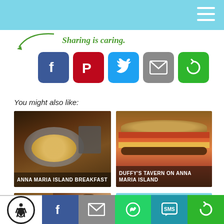Sharing is caring.
[Figure (infographic): Social sharing buttons: Facebook, Pinterest, Twitter, Email, Share]
You might also like:
[Figure (photo): Anna Maria Island Breakfast - plate with eggs and coffee]
[Figure (photo): Duffy's Tavern on Anna Maria Island - burger closeup]
[Figure (photo): Person in restaurant, partial view]
[Figure (photo): Ocean/beach scene]
Accessibility | Facebook | Email | WhatsApp | SMS | Share